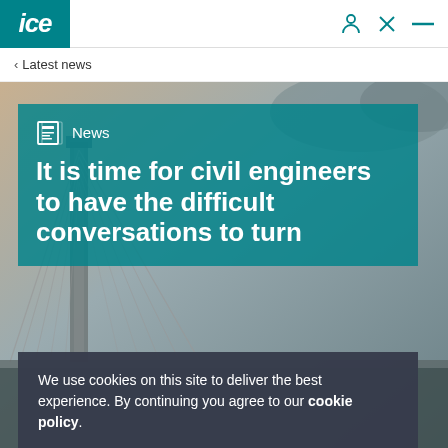ICE
< Latest news
[Figure (photo): Cable-stayed bridge with steel cables against a hazy sky, background hero image for ICE news article page]
News
It is time for civil engineers to have the difficult conversations to turn
We use cookies on this site to deliver the best experience. By continuing you agree to our cookie policy.
Continue